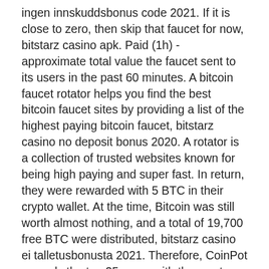ingen innskuddsbonus code 2021. If it is close to zero, then skip that faucet for now, bitstarz casino apk. Paid (1h) - approximate total value the faucet sent to its users in the past 60 minutes. A bitcoin faucet rotator helps you find the best bitcoin faucet sites by providing a list of the highest paying bitcoin faucet, bitstarz casino no deposit bonus 2020. A rotator is a collection of trusted websites known for being high paying and super fast. In return, they were rewarded with 5 BTC in their crypto wallet. At the time, Bitcoin was still worth almost nothing, and a total of 19,700 free BTC were distributed, bitstarz casino ei talletusbonusta 2021. Therefore, CoinPot rewards the top 25 users with the most stars, bitstarz casino ingen insättningsbonus 2021. Hence, You can get an additional 10 million coinpot tokkens for being among the best. They also have a referral program that offers you a 1% bonus for every active referral you make. A referral